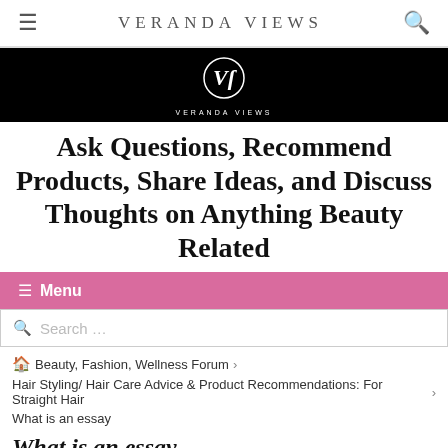≡  VERANDA VIEWS  🔍
[Figure (logo): Veranda Views logo — white stylized VV monogram on black background with 'VERANDA VIEWS' text below in white spaced letters]
Ask Questions, Recommend Products, Share Ideas, and Discuss Thoughts on Anything Beauty Related
≡ Menu
Search …
🏠 Beauty, Fashion, Wellness Forum >
Hair Styling/ Hair Care Advice & Product Recommendations: For Straight Hair >
What is an essay
What is an essay